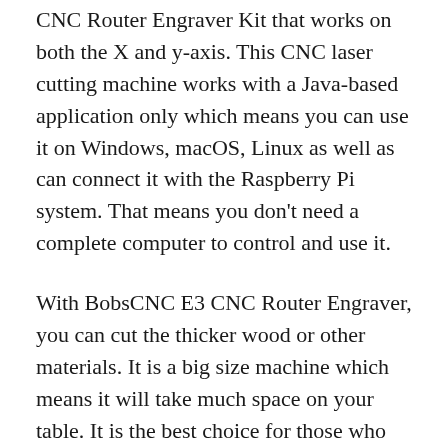CNC Router Engraver Kit that works on both the X and y-axis. This CNC laser cutting machine works with a Java-based application only which means you can use it on Windows, macOS, Linux as well as can connect it with the Raspberry Pi system. That means you don't need a complete computer to control and use it.
With BobsCNC E3 CNC Router Engraver, you can cut the thicker wood or other materials. It is a big size machine which means it will take much space on your table. It is the best choice for those who need to cut the full-size image on wood at affordable prices. The disadvantage of this engraving machine is that you can only use it on woodworking things and not on vinyl or stickers. So if you are looking for vinyl or stickers engraving then you should go with other options.